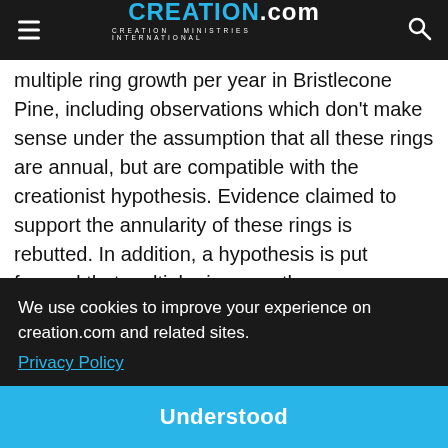CREATION.com — CREATION MINISTRIES INTERNATIONAL
multiple ring growth per year in Bristlecone Pine, including observations which don't make sense under the assumption that all these rings are annual, but are compatible with the creationist hypothesis. Evidence claimed to support the annularity of these rings is rebutted. In addition, a hypothesis is put forward that multiple ring growth ... (partially obscured) ...these ...and a ...on that ...p ...at substantiation of multiplicity in BCPs.
We use cookies to improve your experience on creation.com and related sites. Privacy Policy
Understood